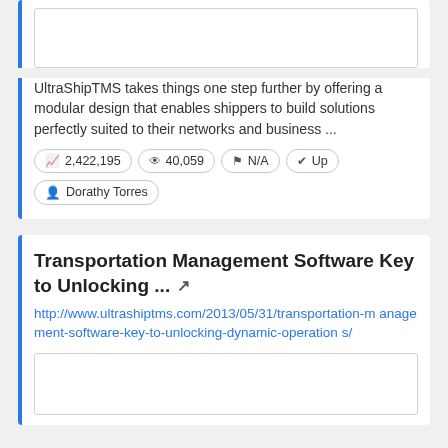[Figure (other): Blank image placeholder at top of first card]
UltraShipTMS takes things one step further by offering a modular design that enables shippers to build solutions perfectly suited to their networks and business ...
2,422,195
40,059
N/A
Up
Dorathy Torres
Transportation Management Software Key to Unlocking ...
http://www.ultrashiptms.com/2013/05/31/transportation-management-software-key-to-unlocking-dynamic-operations/
[Figure (other): Blank image placeholder at bottom of second card]